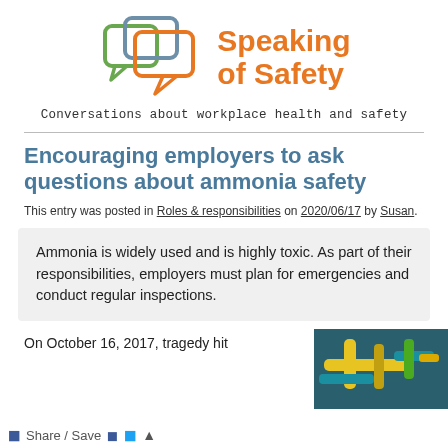[Figure (logo): Speaking of Safety logo with two overlapping speech bubbles (green and blue outlines, orange filled) and orange bold text 'Speaking of Safety']
Conversations about workplace health and safety
Encouraging employers to ask questions about ammonia safety
This entry was posted in Roles & responsibilities on 2020/06/17 by Susan.
Ammonia is widely used and is highly toxic. As part of their responsibilities, employers must plan for emergencies and conduct regular inspections.
On October 16, 2017, tragedy hit
[Figure (photo): Industrial pipes and equipment, showing blue and yellow piping in a factory or plant setting]
Share / Save